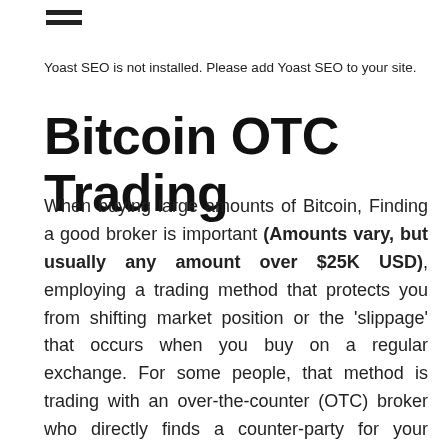[Figure (other): Hamburger menu icon (two horizontal lines)]
Yoast SEO is not installed. Please add Yoast SEO to your site.
Bitcoin OTC Trading
When buying large amounts of Bitcoin, Finding a good broker is important (Amounts vary, but usually any amount over $25K USD), employing a trading method that protects you from shifting market position or the 'slippage' that occurs when you buy on a regular exchange. For some people, that method is trading with an over-the-counter (OTC) broker who directly finds a counter-party for your desired trade. This is the best-case scenario if you are looking to acquire large amounts of these blockchain or digital assets. The exchanges we have often worked with for obtaining such assets find that